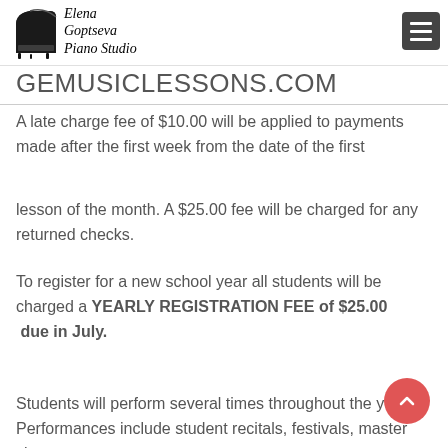[Figure (logo): Elena Goptseva Piano Studio logo with grand piano silhouette and cursive text]
GEMUSICLESSONS.COM
A late charge fee of $10.00 will be applied to payments made after the first week from the date of the first
lesson of the month. A $25.00 fee will be charged for any returned checks.
To register for a new school year all students will be charged a YEARLY REGISTRATION FEE of $25.00
due in July.
Students will perform several times throughout the year. Performances include student recitals, festivals, master classes